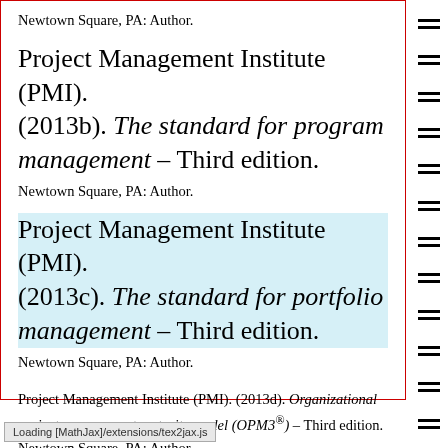Newtown Square, PA: Author.
Project Management Institute (PMI). (2013b). The standard for program management – Third edition. Newtown Square, PA: Author.
Project Management Institute (PMI). (2013c). The standard for portfolio management – Third edition. Newtown Square, PA: Author.
Project Management Institute (PMI). (2013d). Organizational project management maturity model (OPM3®) – Third edition. Newtown Square, PA: Author.
Loading [MathJax]/extensions/tex2jax.js